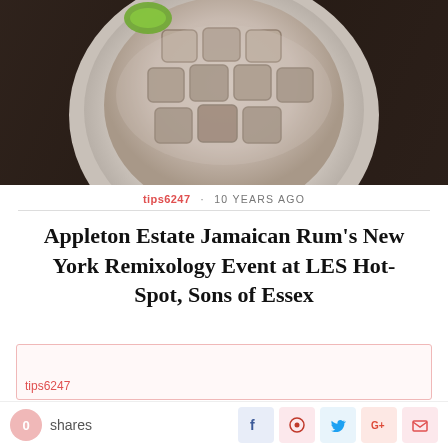[Figure (photo): Overhead view of a cocktail in a round glass filled with large square ice cubes and a creamy liquid, with a lime wedge garnish, on a dark wooden surface.]
tips6247 · 10 YEARS AGO
Appleton Estate Jamaican Rum’s New York Remixology Event at LES Hot-Spot, Sons of Essex
tips6247
0 shares